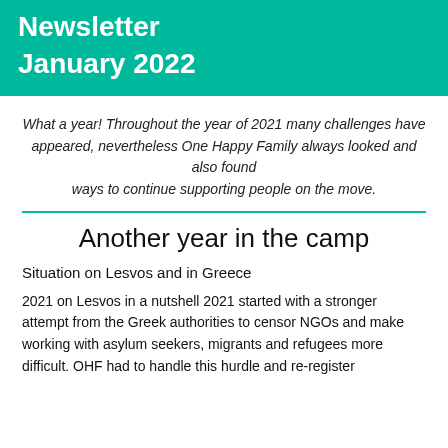Newsletter
January 2022
What a year! Throughout the year of 2021 many challenges have appeared, nevertheless One Happy Family always looked and also found ways to continue supporting people on the move.
Another year in the camp
Situation on Lesvos and in Greece
2021 on Lesvos in a nutshell 2021 started with a stronger attempt from the Greek authorities to censor NGOs and make working with asylum seekers, migrants and refugees more difficult. OHF had to handle this hurdle and re-register